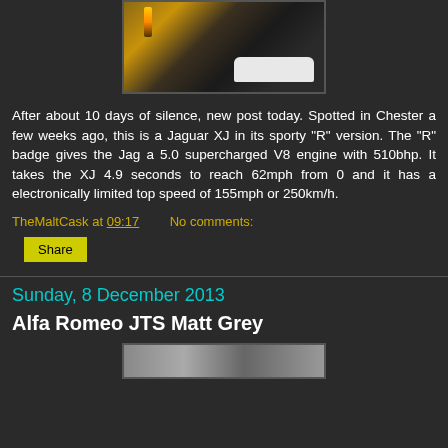[Figure (photo): Nighttime photo of a white Jaguar XJ parked in a parking lot, with a lit torch/lamp post visible on the left side]
After about 10 days of silence, new post today. Spotted in Chester a few weeks ago, this is a Jaguar XJ in its sporty "R" version. The "R" badge gives the Jag a 5.0 supercharged V8 engine with 510bhp. It takes the XJ 4.9 seconds to reach 62mph from 0 and it has a electronically limited top speed of 155mph or 250km/h.
TheMaltCask at 09:17    No comments:
Share
Sunday, 8 December 2013
Alfa Romeo JTS Matt Grey
[Figure (photo): Partial photo of an Alfa Romeo car, appears to be the bottom portion of the image cut off]